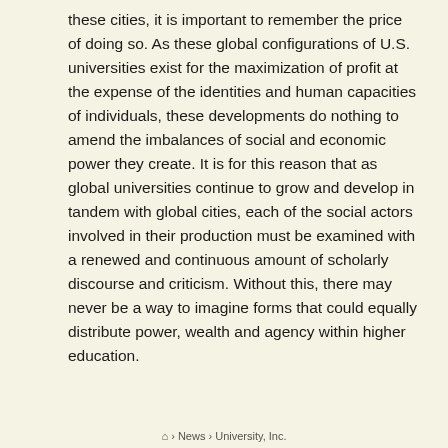these cities, it is important to remember the price of doing so. As these global configurations of U.S. universities exist for the maximization of profit at the expense of the identities and human capacities of individuals, these developments do nothing to amend the imbalances of social and economic power they create. It is for this reason that as global universities continue to grow and develop in tandem with global cities, each of the social actors involved in their production must be examined with a renewed and continuous amount of scholarly discourse and criticism. Without this, there may never be a way to imagine forms that could equally distribute power, wealth and agency within higher education.
⌂ › News › University, Inc.